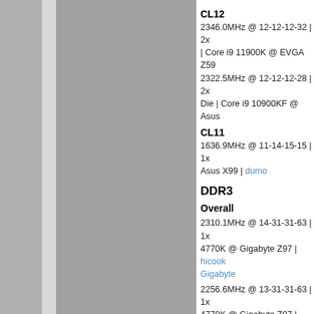CL12
2346.0MHz @ 12-12-12-32 | 2x | Core i9 11900K @ EVGA Z590 2322.5MHz @ 12-12-12-28 | 2x Die | Core i9 10900KF @ Asus
CL11
1636.9MHz @ 11-14-15-15 | 1x Asus X99 | dumo
DDR3
Overall
2310.1MHz @ 14-31-31-63 | 1x 4770K @ Gigabyte Z97 | hicook Gigabyte
2256.6MHz @ 13-31-31-63 | 1x 4770K @ Gigabyte Z97 | Snipe
2239.8MHz @ 14-31-31-63 | 1x 4790K @ Gigabyte Z97 | DFOR
CL15
1898.5MHz @ 15-22-19-27 | 1x Pentium G3258 @ Asus Z87 | G 1848.1MHz @ 15-31-31-60 | 1x @ ASRock Z87 | Littleboy 1819.5MHz @ 15-31-31-45 | 1x 4770K @ ASRock Z87 | NAMED